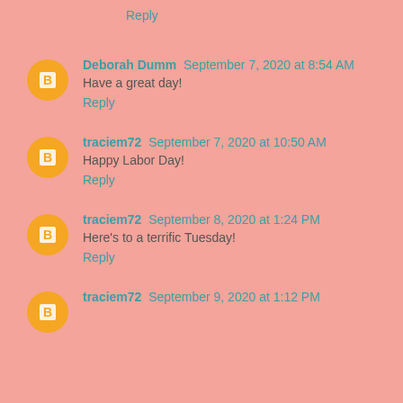Reply
Deborah Dumm  September 7, 2020 at 8:54 AM
Have a great day!
Reply
traciem72  September 7, 2020 at 10:50 AM
Happy Labor Day!
Reply
traciem72  September 8, 2020 at 1:24 PM
Here's to a terrific Tuesday!
Reply
traciem72  September 9, 2020 at 1:12 PM